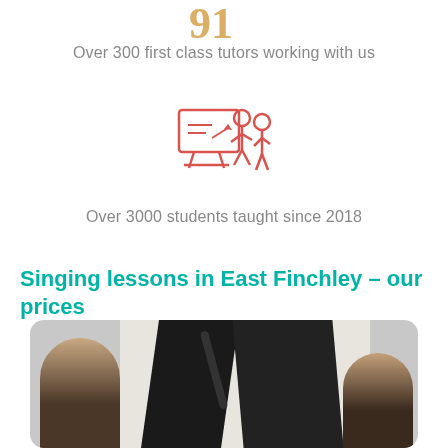[Figure (illustration): Partial decorative gold/amber icon at top of page (cropped, showing bottom portion)]
Over 300 first class tutors working with us
[Figure (illustration): Red/coral line icon showing a teacher pointing at a board with a student standing nearby]
Over 3000 students taught since 2018
Singing lessons in East Finchley – our prices
[Figure (photo): Photo of singing lesson: a student on the left and another person on the right, with dark acoustic panels/boards in the background and a microphone stand, in a professional recording or teaching studio setting]